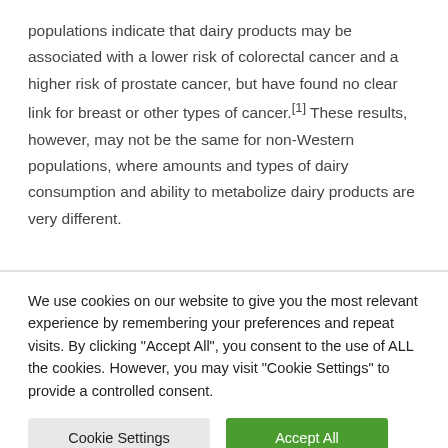populations indicate that dairy products may be associated with a lower risk of colorectal cancer and a higher risk of prostate cancer, but have found no clear link for breast or other types of cancer.[1] These results, however, may not be the same for non-Western populations, where amounts and types of dairy consumption and ability to metabolize dairy products are very different.
We use cookies on our website to give you the most relevant experience by remembering your preferences and repeat visits. By clicking "Accept All", you consent to the use of ALL the cookies. However, you may visit "Cookie Settings" to provide a controlled consent.